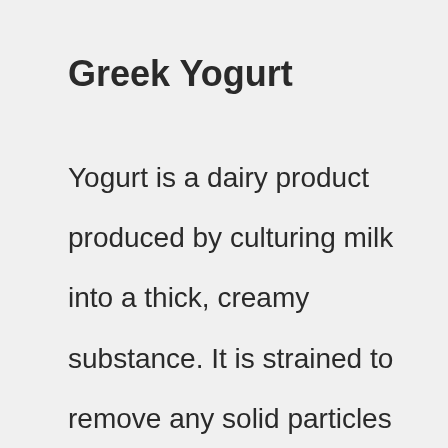Greek Yogurt
Yogurt is a dairy product produced by culturing milk into a thick, creamy substance. It is strained to remove any solid particles and is typically served plain or sweetened. Greek yogurt is thicker and creamier than regular yogurt